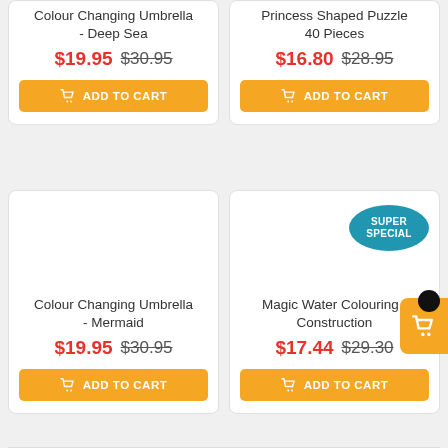Colour Changing Umbrella - Deep Sea
$19.95  $30.95
ADD TO CART
Princess Shaped Puzzle 40 Pieces
$16.80  $28.95
ADD TO CART
Colour Changing Umbrella - Mermaid
$19.95  $30.95
ADD TO CART
Magic Water Colouring - Construction
$17.44  $29.30
SUPER SPECIAL
ADD TO CART